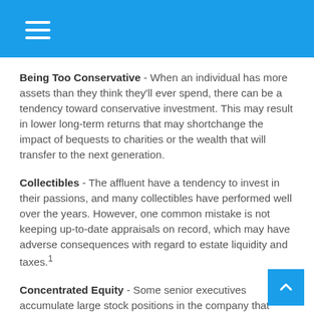Navigation menu header bar
Being Too Conservative - When an individual has more assets than they think they'll ever spend, there can be a tendency toward conservative investment. This may result in lower long-term returns that may shortchange the impact of bequests to charities or the wealth that will transfer to the next generation.
Collectibles - The affluent have a tendency to invest in their passions, and many collectibles have performed well over the years. However, one common mistake is not keeping up-to-date appraisals on record, which may have adverse consequences with regard to estate liquidity and taxes.1
Concentrated Equity - Some senior executives accumulate large stock positions in the company that